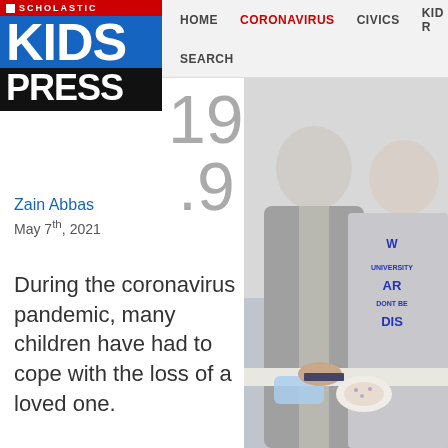SCHOLASTIC KIDS PRESS — HOME | CORONAVIRUS | CIVICS | KID R… | SEARCH
[Figure (photo): Two people standing together indoors, one in a gray cardigan holding a face mask, the other in a university t-shirt with text W…AR…DIS…]
Zain Abbas
May 7th, 2021
During the coronavirus pandemic, many children have had to cope with the loss of a loved one.